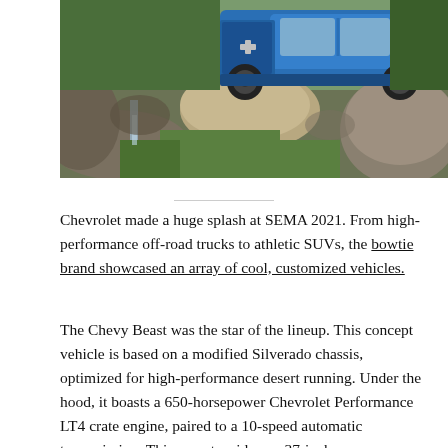[Figure (photo): A blue Chevrolet pickup truck parked on rocky terrain with large boulders, grass, and a small waterfall visible. The truck is seen from the rear three-quarter view.]
Chevrolet made a huge splash at SEMA 2021. From high-performance off-road trucks to athletic SUVs, the bowtie brand showcased an array of cool, customized vehicles.
The Chevy Beast was the star of the lineup. This concept vehicle is based on a modified Silverado chassis, optimized for high-performance desert running. Under the hood, it boasts a 650-horsepower Chevrolet Performance LT4 crate engine, paired to a 10-speed automatic transmission. This monster rides on 37-inch...